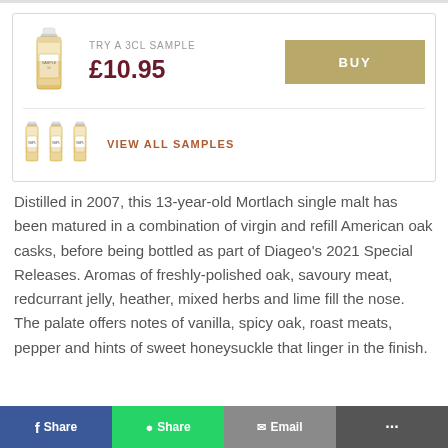[Figure (screenshot): Sample bottle product card with TRY A 3CL SAMPLE label and BUY button]
TRY A 3CL SAMPLE
£10.95
BUY
VIEW ALL SAMPLES
Distilled in 2007, this 13-year-old Mortlach single malt has been matured in a combination of virgin and refill American oak casks, before being bottled as part of Diageo's 2021 Special Releases. Aromas of freshly-polished oak, savoury meat, redcurrant jelly, heather, mixed herbs and lime fill the nose. The palate offers notes of vanilla, spicy oak, roast meats, pepper and hints of sweet honeysuckle that linger in the finish.
Share
Share
Email
...